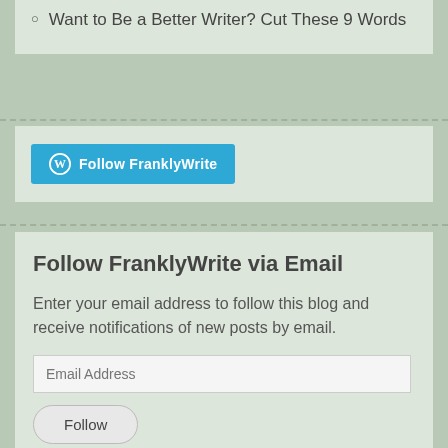Want to Be a Better Writer? Cut These 9 Words
[Figure (other): WordPress Follow FranklyWrite button in blue]
Follow FranklyWrite via Email
Enter your email address to follow this blog and receive notifications of new posts by email.
Email Address
Follow